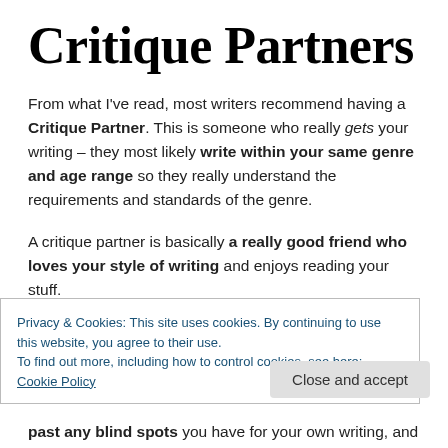Critique Partners
From what I've read, most writers recommend having a Critique Partner. This is someone who really gets your writing – they most likely write within your same genre and age range so they really understand the requirements and standards of the genre.
A critique partner is basically a really good friend who loves your style of writing and enjoys reading your stuff.
Privacy & Cookies: This site uses cookies. By continuing to use this website, you agree to their use.
To find out more, including how to control cookies, see here: Cookie Policy
past any blind spots you have for your own writing, and